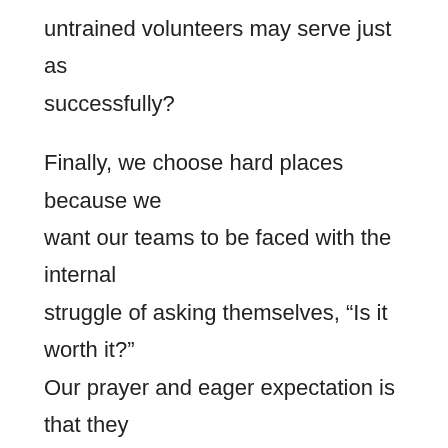untrained volunteers may serve just as successfully?
Finally, we choose hard places because we want our teams to be faced with the internal struggle of asking themselves, “Is it worth it?” Our prayer and eager expectation is that they will answer, “Yes!” and do whatever it takes to make much of Christ.
MBTS: Is the FUSION program only for students who feel called to overseas missions?
SB: No. FUSION is for any Christian student who is in good standing with their local church.